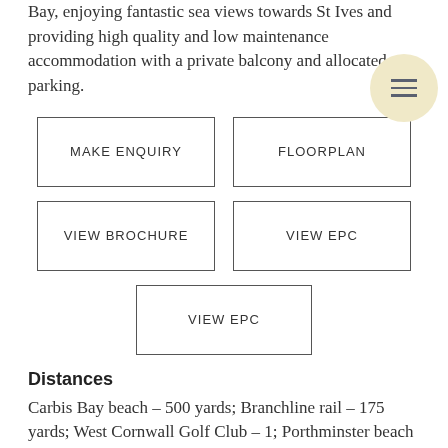Bay, enjoying fantastic sea views towards St Ives and providing high quality and low maintenance accommodation with a private balcony and allocated parking.
[Figure (other): Hamburger menu icon inside a circular beige/yellow background, positioned top right]
MAKE ENQUIRY
FLOORPLAN
VIEW BROCHURE
VIEW EPC
VIEW EPC
Distances
Carbis Bay beach – 500 yards; Branchline rail – 175 yards; West Cornwall Golf Club – 1; Porthminster beach – 1.5; St Ives harbour front – 2; Porthmeor